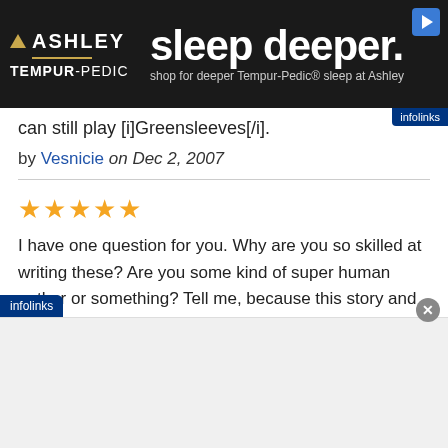[Figure (screenshot): Ashley Furniture and Tempur-Pedic advertisement banner with text 'sleep deeper.' on dark background]
can still play [i]Greensleeves[/i].
by Vesnicie on Dec 2, 2007
★★★★★
I have one question for you. Why are you so skilled at writing these? Are you some kind of super human author or something? Tell me, because this story and Necromancer are two of the most awesome stories I've ever read, in my entire lifetime. You have one hell of a gift, my friend.